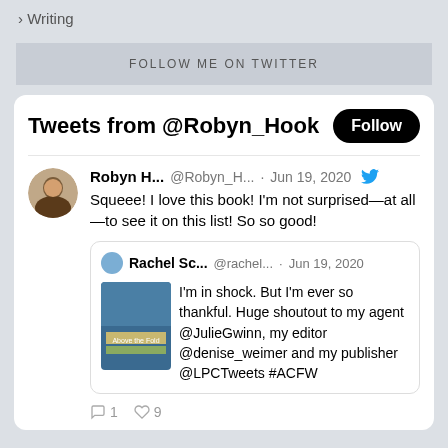> Writing
FOLLOW ME ON TWITTER
[Figure (screenshot): Twitter widget showing tweets from @Robyn_Hook with a Follow button, a tweet by Robyn H... (@Robyn_H...) from Jun 19, 2020 saying 'Squeee! I love this book! I'm not surprised—at all—to see it on this list! So so good!' with a retweet from Rachel Sc... (@rachel...) from Jun 19, 2020 saying 'I'm in shock. But I'm ever so thankful. Huge shoutout to my agent @JulieGwinn, my editor @denise_weimer and my publisher @LPCTweets #ACFW', with 1 comment and 9 likes shown at the bottom.]